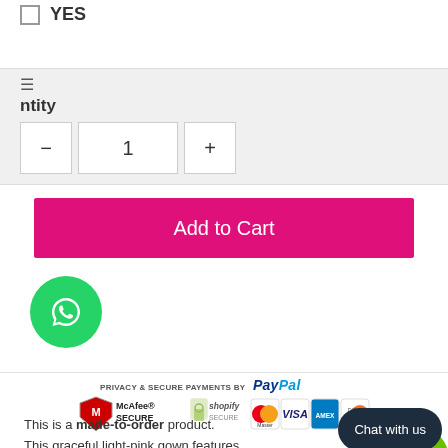YES (checkbox)
ntity
- 1 +
Add to Cart
[Figure (logo): WhatsApp green circle icon]
[Figure (logo): PRIVACY & SECURE PAYMENTS BY — McAfee SECURE, Shopify Secure, PayPal, MasterCard, VISA, American Express, Discover payment badges]
This is a made-to-order product.
This graceful light-pink gown features flounced sleeves, a slim fit bodice with a sweep train. Perfect for parties, weddings, prom& evening events
Chat with us